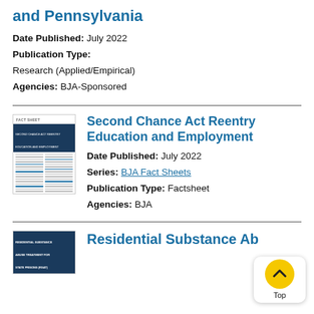and Pennsylvania
Date Published: July 2022
Publication Type: Research (Applied/Empirical)
Agencies: BJA-Sponsored
[Figure (photo): Thumbnail image of a fact sheet document titled 'Second Chance Act Reentry Education and Employment']
Second Chance Act Reentry Education and Employment
Date Published: July 2022
Series: BJA Fact Sheets
Publication Type: Factsheet
Agencies: BJA
[Figure (photo): Thumbnail image of a document titled 'Residential Substance Abuse Treatment for State Prisoners (RSAT)']
Residential Substance Ab…